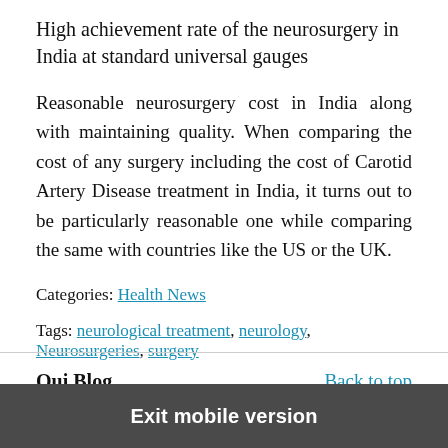High achievement rate of the neurosurgery in India at standard universal gauges
Reasonable neurosurgery cost in India along with maintaining quality. When comparing the cost of any surgery including the cost of Carotid Artery Disease treatment in India, it turns out to be particularly reasonable one while comparing the same with countries like the US or the UK.
Categories: Health News
Tags: neurological treatment, neurology, Neurosurgeries, surgery
Oui Blog   Back to top
Exit mobile version